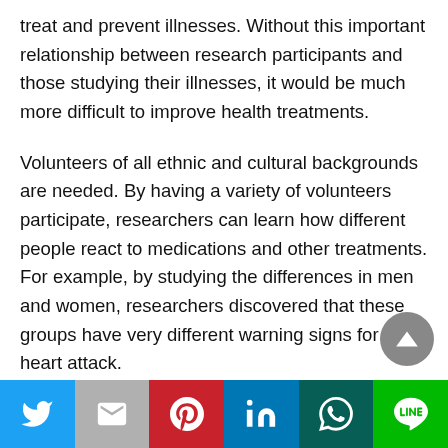treat and prevent illnesses. Without this important relationship between research participants and those studying their illnesses, it would be much more difficult to improve health treatments.
Volunteers of all ethnic and cultural backgrounds are needed. By having a variety of volunteers participate, researchers can learn how different people react to medications and other treatments. For example, by studying the differences in men and women, researchers discovered that these groups have very different warning signs for a heart attack.
[Figure (other): Social sharing bar with Twitter, Gmail, Pinterest, LinkedIn, WhatsApp, and LINE buttons]